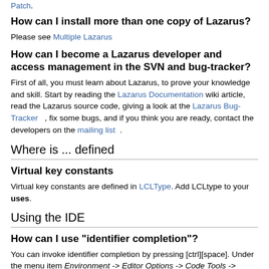Patch.
How can I install more than one copy of Lazarus?
Please see Multiple Lazarus
How can I become a Lazarus developer and access management in the SVN and bug-tracker?
First of all, you must learn about Lazarus, to prove your knowledge and skill. Start by reading the Lazarus Documentation wiki article, read the Lazarus source code, giving a look at the Lazarus Bug-Tracker , fix some bugs, and if you think you are ready, contact the developers on the mailing list .
Where is ... defined
Virtual key constants
Virtual key constants are defined in LCLType. Add LCLtype to your uses.
Using the IDE
How can I use "identifier completion"?
You can invoke identifier completion by pressing [ctrl][space]. Under the menu item Environment -> Editor Options -> Code Tools -> Automatic